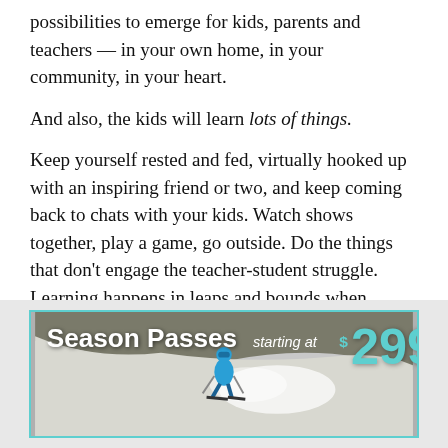possibilities to emerge for kids, parents and teachers — in your own home, in your community, in your heart.
And also, the kids will learn lots of things.
Keep yourself rested and fed, virtually hooked up with an inspiring friend or two, and keep coming back to chats with your kids. Watch shows together, play a game, go outside. Do the things that don't engage the teacher-student struggle. Learning happens in leaps and bounds when people have agency over their time and are feeling happy in their relationships.
[Figure (infographic): Advertisement banner for Season Passes starting at $299, showing a skier on a snowy slope with teal/cyan colored border and text overlay.]